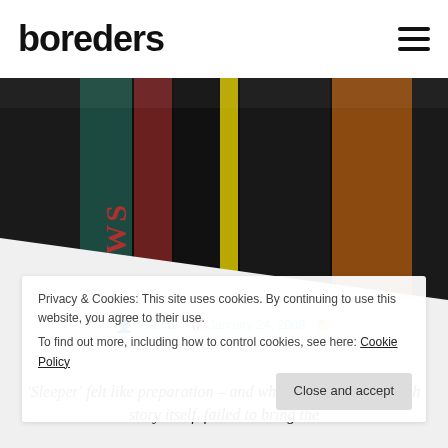boreders
[Figure (photo): Close-up photo of book spines on a shelf, showing partial titles including 'JAWS' and 'CRIMES', with a diagonal white cut at the bottom of the image]
Privacy & Cookies: This site uses cookies. By continuing to use this website, you agree to their use.
To find out more, including how to control cookies, see here: Cookie Policy
Paul B   January 24, 2008
'Sleeper' felt like preparation – and while an effective enough story itself, failed to bring the